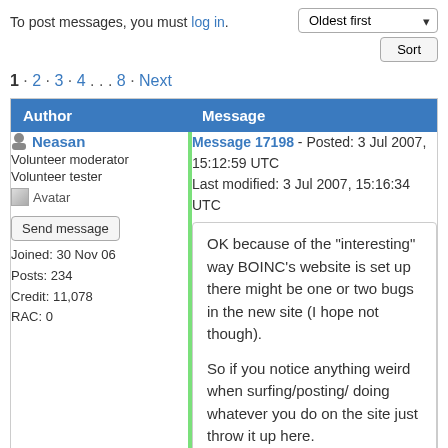To post messages, you must log in.
1 · 2 · 3 · 4 . . . 8 · Next
| Author | Message |
| --- | --- |
| Neasan
Volunteer moderator
Volunteer tester
Avatar
Send message
Joined: 30 Nov 06
Posts: 234
Credit: 11,078
RAC: 0 | Message 17198 - Posted: 3 Jul 2007, 15:12:59 UTC
Last modified: 3 Jul 2007, 15:16:34 UTC

OK because of the "interesting" way BOINC's website is set up there might be one or two bugs in the new site (I hope not though).

So if you notice anything weird when surfing/posting/ doing whatever you do on the site just throw it up here.

Any dead links etc is also appreciated I think I got them all. |